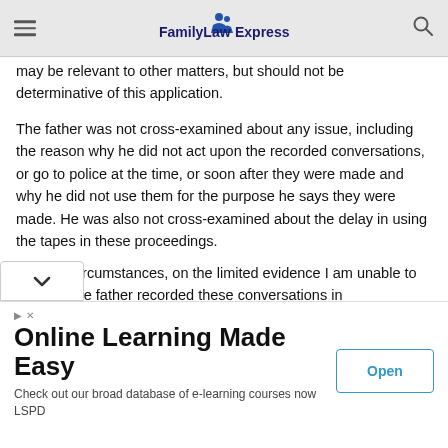FamilyLaw Express
may be relevant to other matters, but should not be determinative of this application.
The father was not cross-examined about any issue, including the reason why he did not act upon the recorded conversations, or go to police at the time, or soon after they were made and why he did not use them for the purpose he says they were made. He was also not cross-examined about the delay in using the tapes in these proceedings.
In these circumstances, on the limited evidence I am unable to find that the father recorded these conversations in circumstances where it was reasonably necessary for the protection of his lawful interests to do so. Therefore, the father's actions, in covertly taping conversations with the mother without her consent is unlawful.
[Figure (other): Advertisement banner: Online Learning Made Easy — Check out our broad database of e-learning courses now LSPD. Open button.]